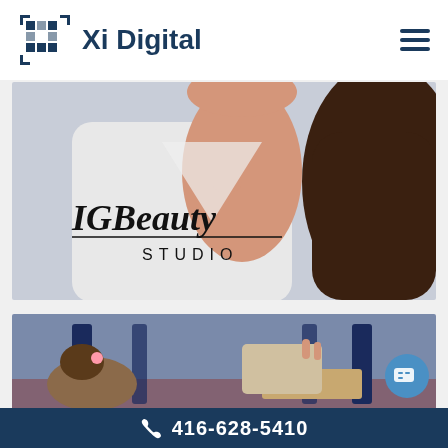Xi Digital
[Figure (photo): Woman in white robe touching her face/neck with long dark hair, with IGBeauty Studio logo overlay]
[Figure (photo): Child at a restaurant table with food, chairs visible in background]
416-628-5410